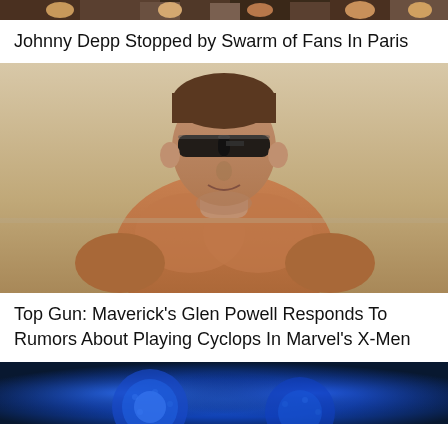[Figure (photo): Top strip of a crowd/fans photo, partially cropped]
Johnny Depp Stopped by Swarm of Fans In Paris
[Figure (photo): Shirtless muscular man wearing sunglasses outdoors, likely Glen Powell from Top Gun: Maverick]
Top Gun: Maverick's Glen Powell Responds To Rumors About Playing Cyclops In Marvel's X-Men
[Figure (photo): Blue-toned image, partially cropped, appears to show a figure or character in blue lighting]